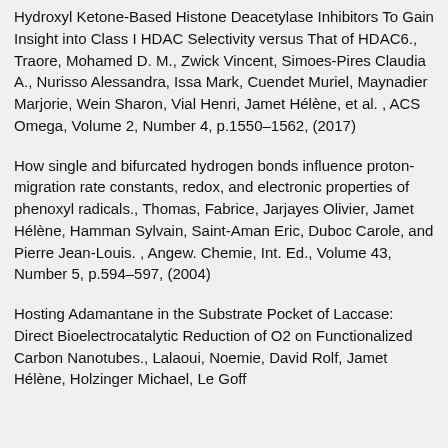Hydroxyl Ketone-Based Histone Deacetylase Inhibitors To Gain Insight into Class I HDAC Selectivity versus That of HDAC6., Traore, Mohamed D. M., Zwick Vincent, Simoes-Pires Claudia A., Nurisso Alessandra, Issa Mark, Cuendet Muriel, Maynadier Marjorie, Wein Sharon, Vial Henri, Jamet Hélène, et al. , ACS Omega, Volume 2, Number 4, p.1550–1562, (2017)
How single and bifurcated hydrogen bonds influence proton-migration rate constants, redox, and electronic properties of phenoxyl radicals., Thomas, Fabrice, Jarjayes Olivier, Jamet Hélène, Hamman Sylvain, Saint-Aman Eric, Duboc Carole, and Pierre Jean-Louis. , Angew. Chemie, Int. Ed., Volume 43, Number 5, p.594–597, (2004)
Hosting Adamantane in the Substrate Pocket of Laccase: Direct Bioelectrocatalytic Reduction of O2 on Functionalized Carbon Nanotubes., Lalaoui, Noemie, David Rolf, Jamet Hélène, Holzinger Michael, Le Goff